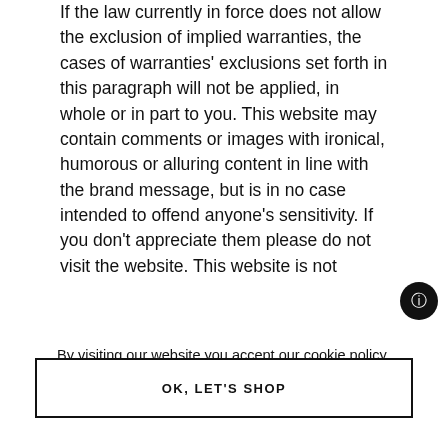If the law currently in force does not allow the exclusion of implied warranties, the cases of warranties' exclusions set forth in this paragraph will not be applied, in whole or in part to you. This website may contain comments or images with ironical, humorous or alluring content in line with the brand message, but is in no case intended to offend anyone's sensitivity. If you don't appreciate them please do not visit the website. This website is not
By visiting our website you accept our cookie policy here and on other platforms.
OK, LET'S SHOP